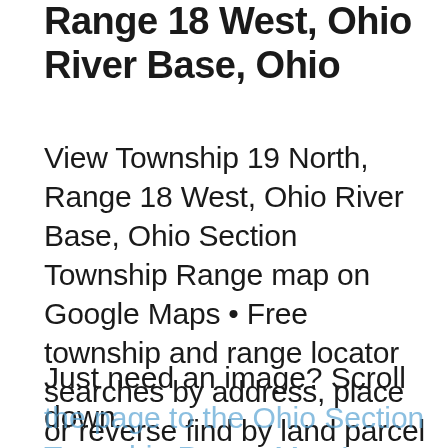Range 18 West, Ohio River Base, Ohio
View Township 19 North, Range 18 West, Ohio River Base, Ohio Section Township Range map on Google Maps • Free township and range locator searches by address, place or reverse find by land parcel description.
Just need an image? Scroll down
the page to the Ohio Section Township Range Map Image